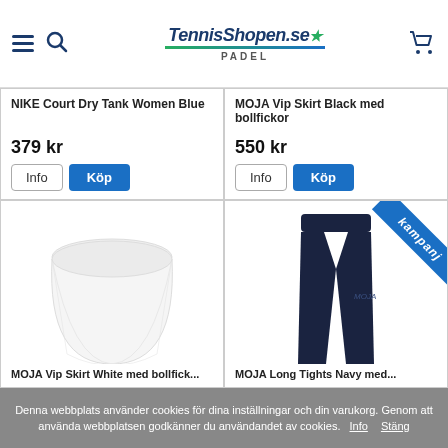TennisShopen.se PADEL
NIKE Court Dry Tank Women Blue
379 kr
Info  Köp
MOJA Vip Skirt Black med bollfickor
550 kr
Info  Köp
[Figure (photo): White tennis skirt product image]
MOJA Vip Skirt White med bollfickor
[Figure (photo): Dark navy blue leggings/tights product image with campaign badge]
MOJA Long Tights Navy med
Denna webbplats använder cookies för dina inställningar och din varukorg. Genom att använda webbplatsen godkänner du användandet av cookies.  Info  Stäng